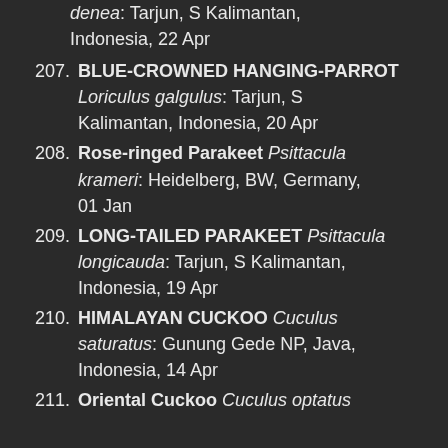denea: Tarjun, S Kalimantan, Indonesia, 22 Apr
207. BLUE-CROWNED HANGING-PARROT Loriculus galgulus: Tarjun, S Kalimantan, Indonesia, 20 Apr
208. Rose-ringed Parakeet Psittacula krameri: Heidelberg, BW, Germany, 01 Jan
209. LONG-TAILED PARAKEET Psittacula longicauda: Tarjun, S Kalimantan, Indonesia, 19 Apr
210. HIMALAYAN CUCKOO Cuculus saturatus: Gunung Gede NP, Java, Indonesia, 14 Apr
211. Oriental Cuckoo Cuculus optatus